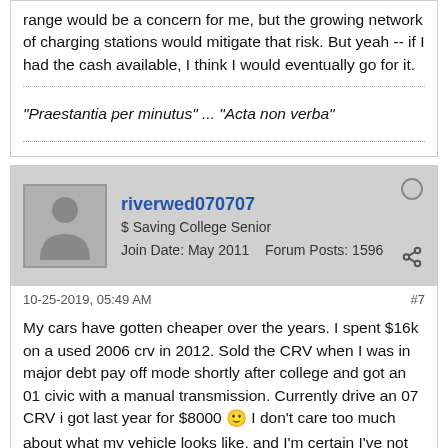range would be a concern for me, but the growing network of charging stations would mitigate that risk. But yeah -- if I had the cash available, I think I would eventually go for it.
"Praestantia per minutus" ... "Acta non verba"
riverwed070707
$ Saving College Senior
Join Date: May 2011    Forum Posts: 1596
10-25-2019, 05:49 AM
#7
My cars have gotten cheaper over the years. I spent $16k on a used 2006 crv in 2012. Sold the CRV when I was in major debt pay off mode shortly after college and got an 01 civic with a manual transmission. Currently drive an 07 CRV i got last year for $8000 🙂 I don't care too much about what my vehicle looks like, and I'm certain I've not spent more in maintenance, gas, registration, etc than I would have on a newer vehicle over the years. Gets me from place to place, seats are heated for winter, versatile enough to haul some lumber or supplies to set up for a party. It only has 110k miles and I anticipate driving it another 5+ years. Eventually I'd like to replace it with a hybrid I think but auto